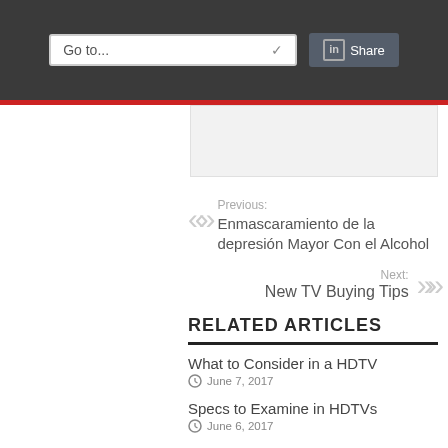Go to... Share
Previous: Enmascaramiento de la depresión Mayor Con el Alcohol
Next: New TV Buying Tips
RELATED ARTICLES
What to Consider in a HDTV
June 7, 2017
Specs to Examine in HDTVs
June 6, 2017
HDTV Shopping Information
June 5, 2017